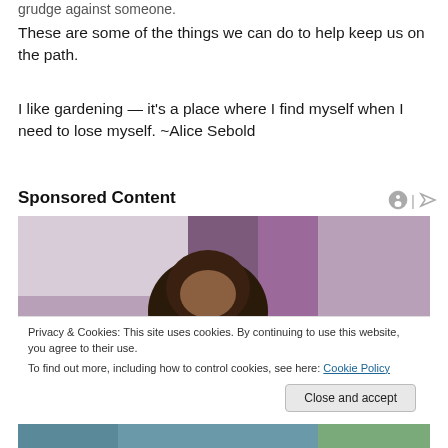grudge against someone.
These are some of the things we can do to help keep us on the path.
I like gardening — it's a place where I find myself when I need to lose myself. ~Alice Sebold
Sponsored Content
[Figure (photo): Photo of a woman with curly hair against a purple curtain background]
Privacy & Cookies: This site uses cookies. By continuing to use this website, you agree to their use.
To find out more, including how to control cookies, see here: Cookie Policy
[Figure (photo): Partial photo visible at bottom of page]